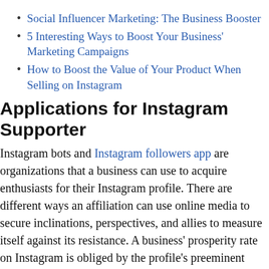Social Influencer Marketing: The Business Booster
5 Interesting Ways to Boost Your Business' Marketing Campaigns
How to Boost the Value of Your Product When Selling on Instagram
Applications for Instagram Supporter
Instagram bots and Instagram followers app are organizations that a business can use to acquire enthusiasts for their Instagram profile. There are different ways an affiliation can use online media to secure inclinations, perspectives, and allies to measure itself against its resistance. A business' prosperity rate on Instagram is obliged by the profile's preeminent number of followers, and the measure of inclinations every photograph gets on the web. Regardless, there ought not to be any compromise on quality. It's not a bad idea to